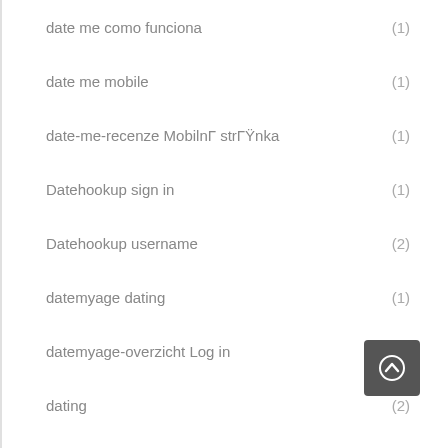date me como funciona (1)
date me mobile (1)
date-me-recenze MobilnΓ strΓΫnka (1)
Datehookup sign in (1)
Datehookup username (2)
datemyage dating (1)
datemyage-overzicht Log in (1)
dating (2)
Dating apps apps
Dating app results (1)